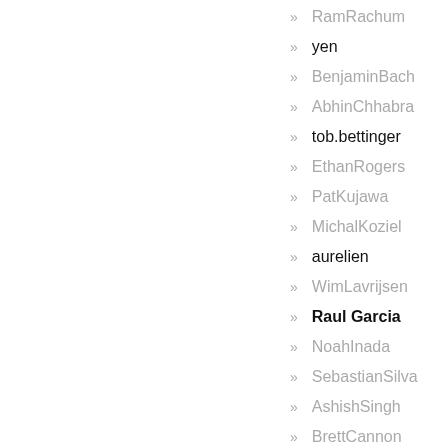RamRachum
yen
BenjaminBach
AbhinChhabra
tob.bettinger
EthanRogers
PatKujawa
MichalKoziel
aurelien
WimLavrijsen
Raul Garcia
NoahInada
SebastianSilva
AshishSingh
BrettCannon
MesfinD
Peijun Zhao
SantosGallegos